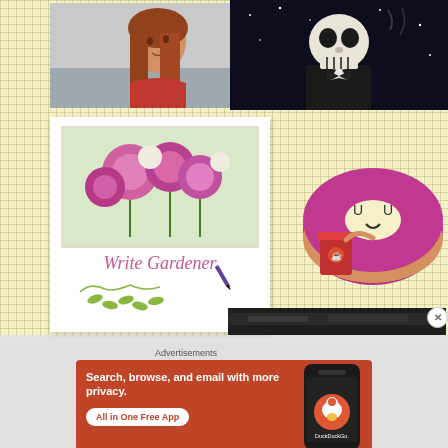[Figure (photo): Young woman with long auburn/red hair, wearing a red top, looking over her shoulder, outdoor cityscape background]
[Figure (illustration): Cartoon skeleton character in a suit against a dark starry background]
[Figure (logo): Write Gardener blog logo: photo of pink flowers above cursive 'Write Gardener' text with a purple pen and green leaf decorative illustration]
[Figure (illustration): Cartoon donut with a purple/magenta glaze and small cute face (UU eyes), holding a red coffee/drink cup]
[Figure (photo): Partially visible dark photo at bottom right]
Advertisements
[Figure (screenshot): DuckDuckGo advertisement banner: orange/red background with white text 'Search, browse, and email with more privacy. All in One Free App' and image of a smartphone with DuckDuckGo logo]